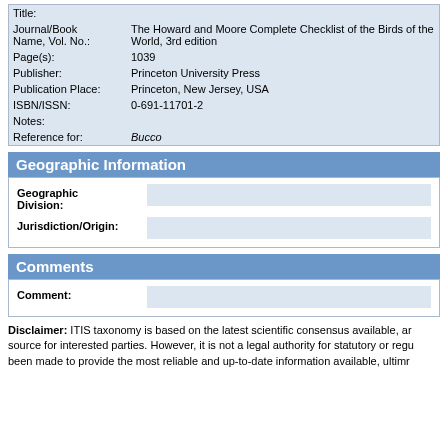| Field | Value |
| --- | --- |
| Title: |  |
| Journal/Book Name, Vol. No.: | The Howard and Moore Complete Checklist of the Birds of the World, 3rd edition |
| Page(s): | 1039 |
| Publisher: | Princeton University Press |
| Publication Place: | Princeton, New Jersey, USA |
| ISBN/ISSN: | 0-691-11701-2 |
| Notes: |  |
| Reference for: | Bucco |
Geographic Information
| Field | Value |
| --- | --- |
| Geographic Division: |  |
| Jurisdiction/Origin: |  |
Comments
| Field | Value |
| --- | --- |
| Comment: |  |
Disclaimer: ITIS taxonomy is based on the latest scientific consensus available, and is provided as a general reference source for interested parties. However, it is not a legal authority for statutory or regulatory purposes. While every effort has been made to provide the most reliable and up-to-date information available, ultimate legal requirements with respect to species are contained in provisions of treaties to which the United States is a party, wildlife statutes, regulations, and any applicable notices that have been published in the Federal Register.